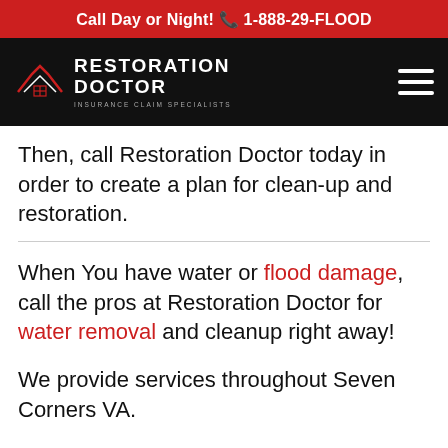Call Day or Night! 1-888-29-FLOOD
[Figure (logo): Restoration Doctor logo with roofline icon and text RESTORATION DOCTOR, INSURANCE CLAIM SPECIALISTS on black navigation bar with hamburger menu icon]
Then, call Restoration Doctor today in order to create a plan for clean-up and restoration.
When You have water or flood damage, call the pros at Restoration Doctor for water removal and cleanup right away!
We provide services throughout Seven Corners VA.